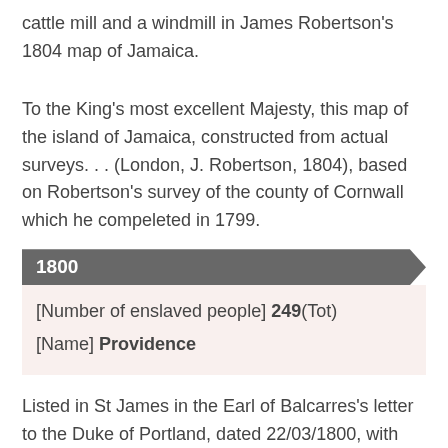cattle mill and a windmill in James Robertson's 1804 map of Jamaica.
To the King's most excellent Majesty, this map of the island of Jamaica, constructed from actual surveys. . . (London, J. Robertson, 1804), based on Robertson's survey of the county of Cornwall which he compeleted in 1799.
1800
[Number of enslaved people] 249(Tot)
[Name] Providence
Listed in St James in the Earl of Balcarres's letter to the Duke of Portland, dated 22/03/1800, with John Sill as the proprietor.
Papers Presented to the House of Commons of the 7th May 1804, Respecting the Slave Trade